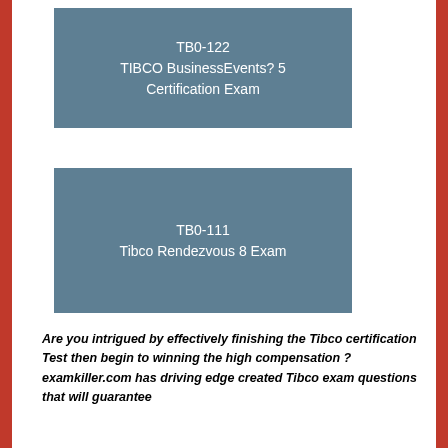TB0-122
TIBCO BusinessEvents? 5
Certification Exam
TB0-111
Tibco Rendezvous 8 Exam
Are you intrigued by effectively finishing the Tibco certification Test then begin to winning the high compensation ? examkiller.com has driving edge created Tibco exam questions that will guarantee